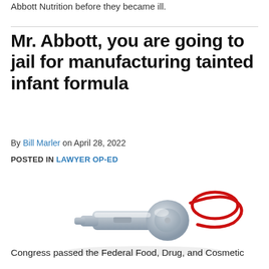Abbott Nutrition before they became ill.
Mr. Abbott, you are going to jail for manufacturing tainted infant formula
By Bill Marler on April 28, 2022
POSTED IN LAWYER OP-ED
[Figure (photo): A silver metal whistle with a red lanyard cord lying on a white surface]
Congress passed the Federal Food, Drug, and Cosmetic